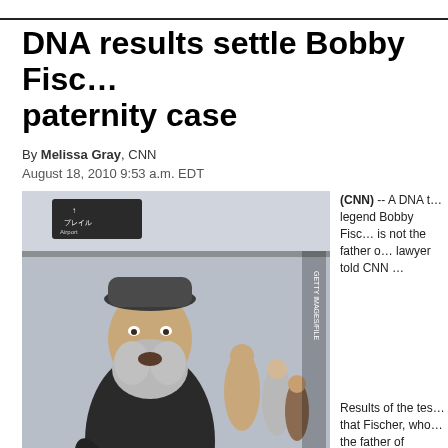DNA results settle Bobby Fischer paternity case
By Melissa Gray, CNN
August 18, 2010 9:53 a.m. EDT
[Figure (photo): Bobby Fischer talks to reporters in Japan, photo taken in 2005. He is an elderly bearded man in a dark sweater at an airport.]
Bobby Fischer talks to reporters in Japan in this photo taken in 2005.
STORY HIGHLIGHTS
Results show Fischer is not the father of a Filipino girl
Girl's lawyer says it ends the paternity
(CNN) -- A DNA test legend Bobby Fischer is not the father of a lawyer told CNN
Results of the test that Fischer, who the father of Jinky Bogason said.
"This brings about case," he said.
In June, Iceland's supreme court ruled in to exhume Fischer's remains in order to s paternity.